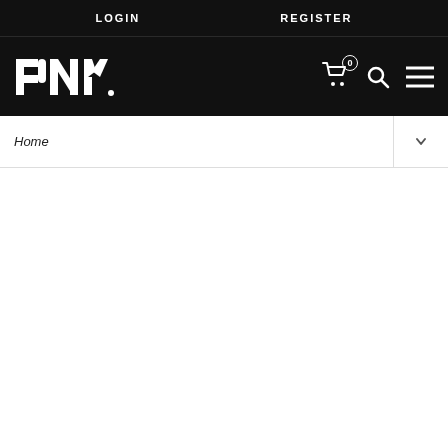LOGIN    REGISTER
[Figure (logo): PNY logo in white on black background with cart icon showing 0 items, search icon, and hamburger menu icon]
Home